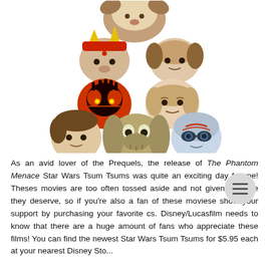[Figure (photo): A pyramid-stacked group of Star Wars Phantom Menace Tsum Tsum plush toys. Top: a large creature. Second row: a character with red and yellow crown helmet, and another. Third row: Darth Maul (red/black face) and Obi-Wan Kenobi. Bottom row: Anakin Skywalker, Jar Jar Binks, and a pilot character.]
As an avid lover of the Prequels, the release of The Phantom Menace Star Wars Tsum Tsums was quite an exciting day for me! Theses movies are too often tossed aside and not given the love they deserve, so if you're also a fan of these movies please show your support by purchasing your favorite characters. Disney/Lucasfilm needs to know that there are a huge amount of fans who appreciate these films! You can find the newest Star Wars Tsum Tsums for $5.95 each at your nearest Disney Store...